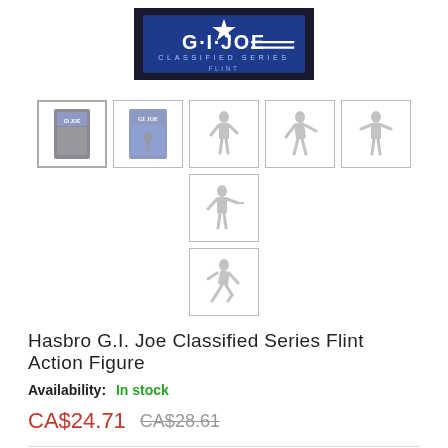[Figure (photo): G.I. Joe Classified Series Flint product image showing box with logo on dark background]
[Figure (photo): Row of 6 product thumbnail images showing G.I. Joe Flint action figure from various angles, plus one thumbnail below]
Hasbro G.I. Joe Classified Series Flint Action Figure
Availability: In stock
CA$24.71  CA$28.61
Qty: 1  Add to Cart
Add to Wishlist  Add to Compare
Details: